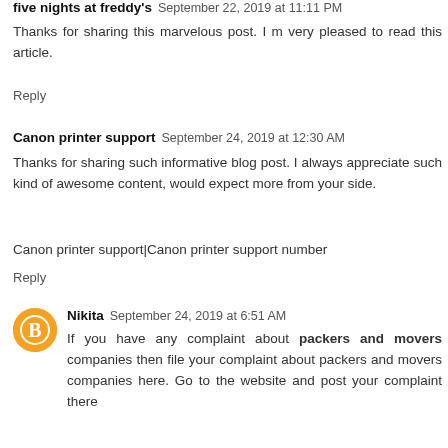five nights at freddy's  September 22, 2019 at 11:11 PM
Thanks for sharing this marvelous post. I m very pleased to read this article.
Reply
Canon printer support  September 24, 2019 at 12:30 AM
Thanks for sharing such informative blog post. I always appreciate such kind of awesome content, would expect more from your side.
Canon printer support|Canon printer support number
Reply
Nikita  September 24, 2019 at 6:51 AM
If you have any complaint about packers and movers companies then file your complaint about packers and movers companies here. Go to the website and post your complaint there